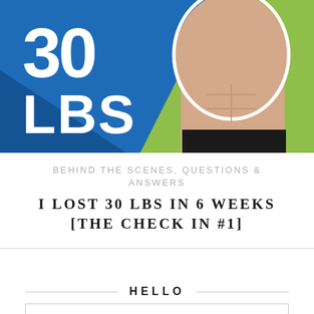[Figure (photo): Hero image showing a person's torso against a split background of blue and green, with large white text '30 LBS' on the blue side]
BEHIND THE SCENES, QUESTIONS & ANSWERS
I LOST 30 LBS IN 6 WEEKS [THE CHECK IN #1]
HELLO